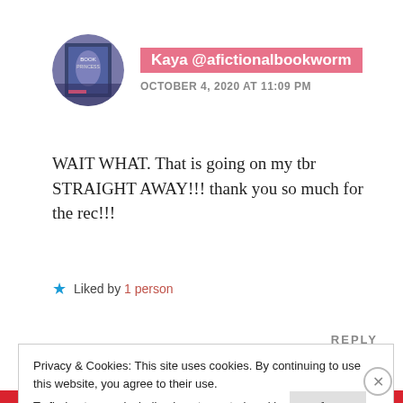[Figure (photo): Circular avatar photo of user Kaya showing a book cover with a figure in blue/purple tones]
Kaya @afictionalbookworm
OCTOBER 4, 2020 AT 11:09 PM
WAIT WHAT. That is going on my tbr STRAIGHT AWAY!!! thank you so much for the rec!!!
★ Liked by 1 person
REPLY
Privacy & Cookies: This site uses cookies. By continuing to use this website, you agree to their use.
To find out more, including how to control cookies, see here: Cookie Policy
Close and accept